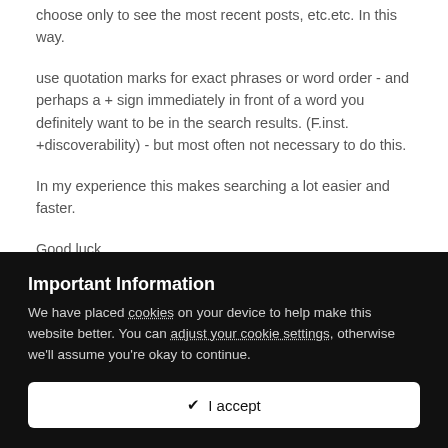choose only to see the most recent posts, etc.etc. In this way.
use quotation marks for exact phrases or word order - and perhaps a + sign immediately in front of a word you definitely want to be in the search results. (F.inst. +discoverability) - but most often not necessary to do this.
In my experience this makes searching a lot easier and faster.
Good luck.
Niels
PS:: Often it is better to start a new thread, especially if the topic is
Important Information
We have placed cookies on your device to help make this website better. You can adjust your cookie settings, otherwise we'll assume you're okay to continue.
✔ I accept